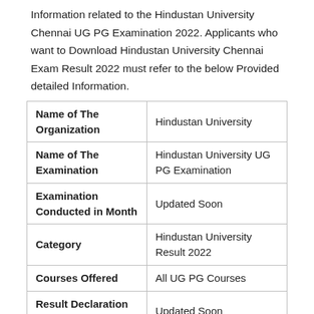Information related to the Hindustan University Chennai UG PG Examination 2022. Applicants who want to Download Hindustan University Chennai Exam Result 2022 must refer to the below Provided detailed Information.
| Name of The Organization | Hindustan University |
| Name of The Examination | Hindustan University UG PG Examination |
| Examination Conducted in Month | Updated Soon |
| Category | Hindustan University Result 2022 |
| Courses Offered | All UG PG Courses |
| Result Declaration Date | Updated Soon |
| Result Status | Updated Soon |
| Official Link | hindustan.univ.ac.in |